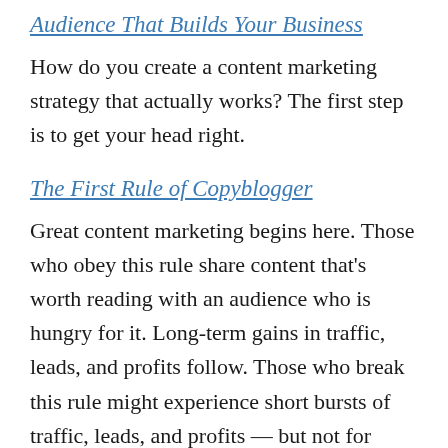Audience That Builds Your Business
How do you create a content marketing strategy that actually works? The first step is to get your head right.
The First Rule of Copyblogger
Great content marketing begins here. Those who obey this rule share content that’s worth reading with an audience who is hungry for it. Long-term gains in traffic, leads, and profits follow. Those who break this rule might experience short bursts of traffic, leads, and profits — but not for long.